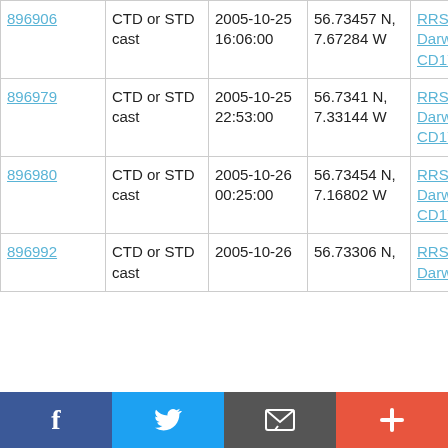| 896906 | CTD or STD cast | 2005-10-25 16:06:00 | 56.73457 N, 7.67284 W | RRS Charles Darwin CD176 |
| 896979 | CTD or STD cast | 2005-10-25 22:53:00 | 56.7341 N, 7.33144 W | RRS Charles Darwin CD176 |
| 896980 | CTD or STD cast | 2005-10-26 00:25:00 | 56.73454 N, 7.16802 W | RRS Charles Darwin CD176 |
| 896992 | CTD or STD cast | 2005-10-26 | 56.73306 N, | RRS Charles Darwin |
f  [Twitter bird]  [envelope]  +